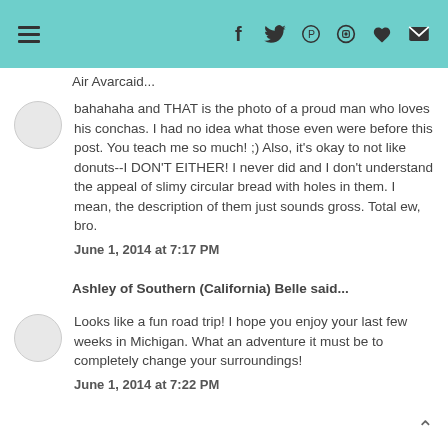Header bar with hamburger menu and social icons (f, twitter, pinterest, instagram, heart, mail)
Air Avarcaid...
bahahaha and THAT is the photo of a proud man who loves his conchas. I had no idea what those even were before this post. You teach me so much! ;) Also, it's okay to not like donuts--I DON'T EITHER! I never did and I don't understand the appeal of slimy circular bread with holes in them. I mean, the description of them just sounds gross. Total ew, bro.
June 1, 2014 at 7:17 PM
Ashley of Southern (California) Belle said...
Looks like a fun road trip! I hope you enjoy your last few weeks in Michigan. What an adventure it must be to completely change your surroundings!
June 1, 2014 at 7:22 PM